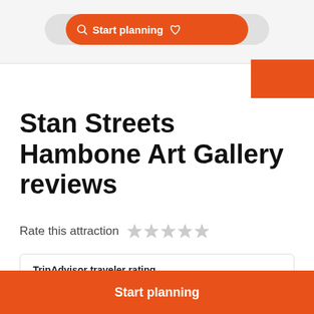[Figure (screenshot): Navigation bar with orange search pill labeled 'Start planning', grey pill with heart, grid, and question mark icons, and orange rectangle in top right corner]
Stan Streets Hambone Art Gallery reviews
Rate this attraction
TripAdvisor traveler rating
101 reviews
Start planning